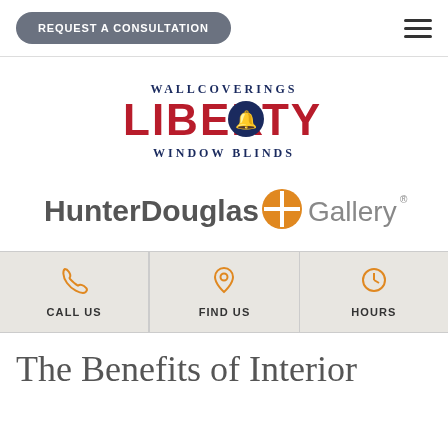REQUEST A CONSULTATION
[Figure (logo): Liberty Wallcoverings Window Blinds logo with red LIBERTY text and liberty bell icon, navy blue WALLCOVERINGS above and WINDOW BLINDS below]
[Figure (logo): HunterDouglas Gallery logo with orange circular cross icon between bold HunterDouglas text and light Gallery text with registered trademark]
| CALL US | FIND US | HOURS |
The Benefits of Interior